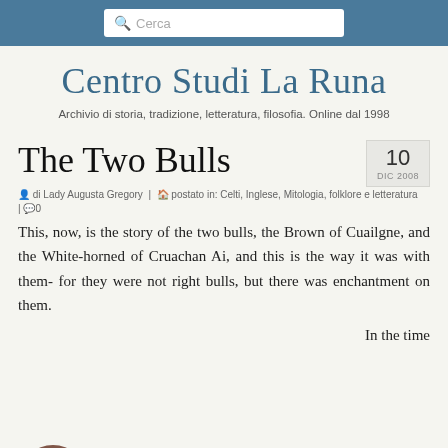Cerca
Centro Studi La Runa
Archivio di storia, tradizione, letteratura, filosofia. Online dal 1998
The Two Bulls
10 DIC 2008
di Lady Augusta Gregory | postato in: Celti, Inglese, Mitologia, folklore e letteratura | 0
This, now, is the story of the two bulls, the Brown of Cuailgne, and the White-horned of Cruachan Ai, and this is the way it was with them- for they were not right bulls, but there was enchantment on them.
In the time